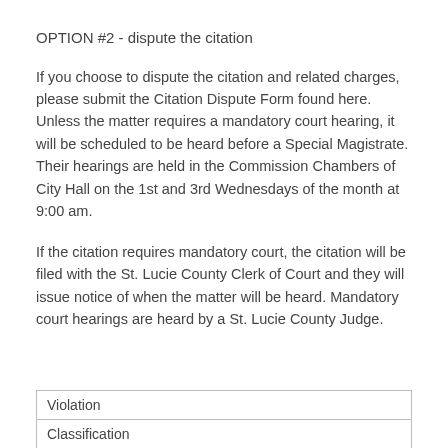OPTION #2 - dispute the citation
If you choose to dispute the citation and related charges, please submit the Citation Dispute Form found here. Unless the matter requires a mandatory court hearing, it will be scheduled to be heard before a Special Magistrate. Their hearings are held in the Commission Chambers of City Hall on the 1st and 3rd Wednesdays of the month at 9:00 am.
If the citation requires mandatory court, the citation will be filed with the St. Lucie County Clerk of Court and they will issue notice of when the matter will be heard. Mandatory court hearings are heard by a St. Lucie County Judge.
| Violation | Classification |
| --- | --- |